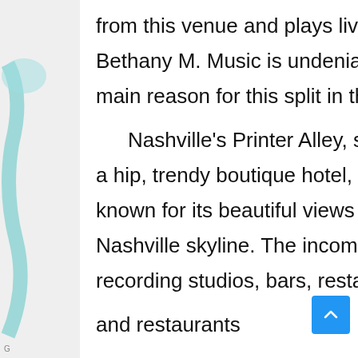from this venue and plays live music day after day. Courtesy of Yelp Bethany M. Music is undeniably a major attraction in Nashville, the main reason for this split in the city.

Nashville's Printer Alley, surrounded by the Kimpton Garden Inn, a hip, trendy boutique hotel, offers plenty of Nashville charm, as it is known for its beautiful views of the Cumberland River and the Nashville skyline. The incomparable music scene has a number of recording studios, bars, restaurants, nightclubs and even a few bars and restaurants